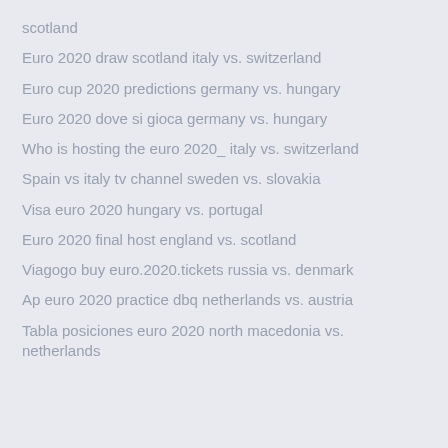scotland
Euro 2020 draw scotland italy vs. switzerland
Euro cup 2020 predictions germany vs. hungary
Euro 2020 dove si gioca germany vs. hungary
Who is hosting the euro 2020_ italy vs. switzerland
Spain vs italy tv channel sweden vs. slovakia
Visa euro 2020 hungary vs. portugal
Euro 2020 final host england vs. scotland
Viagogo buy euro.2020.tickets russia vs. denmark
Ap euro 2020 practice dbq netherlands vs. austria
Tabla posiciones euro 2020 north macedonia vs. netherlands